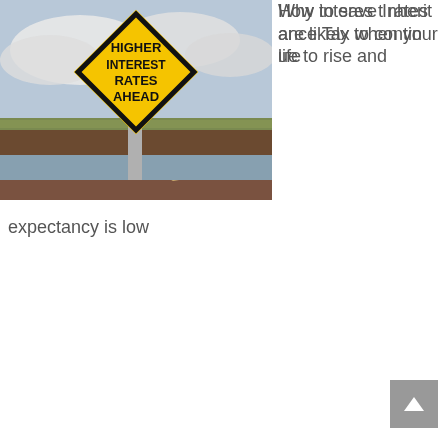[Figure (photo): Keys with a house-shaped keyring and a luggage tag reading INHERITANCE TAX on a wooden surface]
How to save Inheritance Tax when your life expectancy is low
[Figure (photo): Yellow diamond-shaped road sign reading HIGHER INTEREST RATES AHEAD against a cloudy sky with farmland]
Why interest rates are likely to continue to rise and